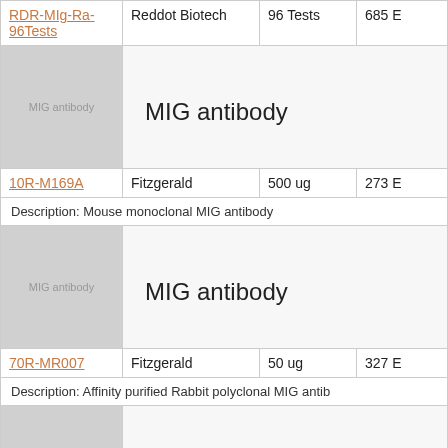| Product | Supplier | Size | Price |
| --- | --- | --- | --- |
| RDR-MIg-Ra-96Tests | Reddot Biotech | 96 Tests | 685 E |
| MIG antibody [image] |  |  |  |
| 10R-M169A | Fitzgerald | 500 ug | 273 E |
| Description: Mouse monoclonal MIG antibody |  |  |  |
| MIG antibody [image] |  |  |  |
| 70R-MR007 | Fitzgerald | 50 ug | 327 E |
| Description: Affinity purified Rabbit polyclonal MIG antib... |  |  |  |